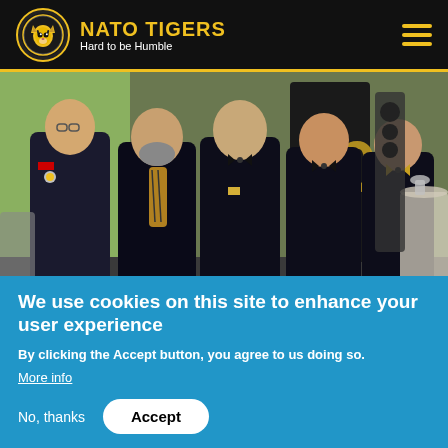NATO TIGERS — Hard to be Humble
[Figure (photo): Group photo of five men in formal military and black-tie attire standing indoors in front of a banner displaying '60']
We use cookies on this site to enhance your user experience
By clicking the Accept button, you agree to us doing so.
More info
No, thanks
Accept